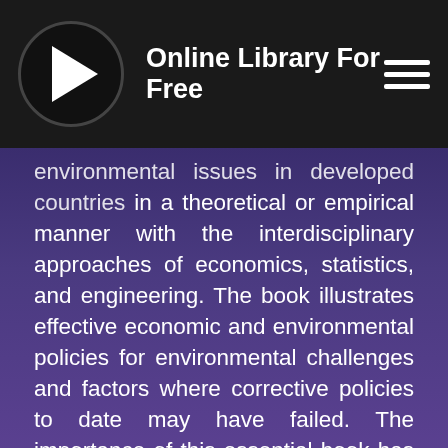Online Library For Free
environmental issues in developed countries in a theoretical or empirical manner with the interdisciplinary approaches of economics, statistics, and engineering. The book illustrates effective economic and environmental policies for environmental challenges and factors where corrective policies to date may have failed. The importance of this essential book has is related to the transition in the major concerns of the people or governments in developed countries shifting from economic growth to the stability of life and environmental preservation as their